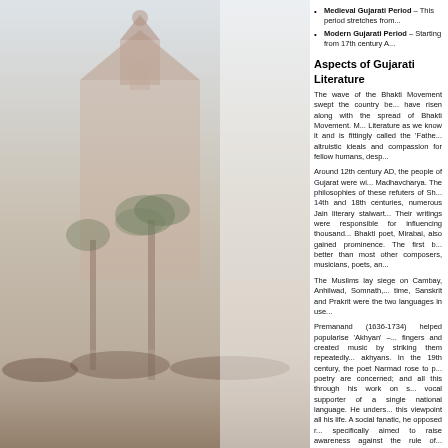Medieval Gujarati Period – This period stretches from...
Modern Gujarati Period – Starting from 17th century A...
Aspects of Gujarati Literature
The wave of the Bhakti Movement swept the country be... have risen along with the spread of Bhakti Movement. M... Literature as we know it and is fittingly called the 'Fathe... altruistic ideals and compassion for fellow humans, desp...
Around 12th century AD, the people of Gujarat were wi... Madhavcharya. The philosophies of these refuters of Sh... 14th and 18th centuries, numerous Jain literary stalwart... Their writings were responsible for influencing thousand... Bhakti poet, Mirabai, also gained prominence. The first b... better than most other composers, musicians, poets, an...
The Muslims lay siege on Cambay, Anhilwad, Somnath,... time, Sanskrit and Prakrit were the two languages in use...
Premanand (1636-1734) helped popularise 'Akhyan' –... fingers and created music by striking them repeatedly... akhyans. In the 19th century, the poet Narmad rose to p... poetry are concerned; and all this through his work on s... vocal supporter of a single national language. He unders... this viewpoint all his life. A social fanatic, he opposed r... specifically aimed to raise awareness against the rule of... literature.
Between 1886 and 1907, Govardhan Tripathi, duly influe...
[Figure (photo): Background photo showing a temple/monument with palm trees and a crowd of people at the bottom, partially visible on the left side of the page.]